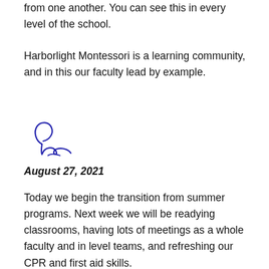from one another. You can see this in every level of the school.
Harborlight Montessori is a learning community, and in this our faculty lead by example.
[Figure (illustration): A handwritten signature in blue ink, appearing to read 'Pam']
August 27, 2021
Today we begin the transition from summer programs. Next week we will be readying classrooms, having lots of meetings as a whole faculty and in level teams, and refreshing our CPR and first aid skills.